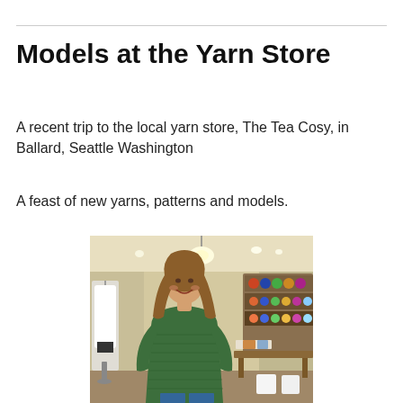Models at the Yarn Store
A recent trip to the local yarn store, The Tea Cosy, in Ballard, Seattle Washington
A feast of new yarns, patterns and models.
[Figure (photo): A woman with long brown hair wearing a green knit sweater standing inside a yarn store. Shelves with colorful yarns are visible in the background, along with lights on the ceiling and display tables.]